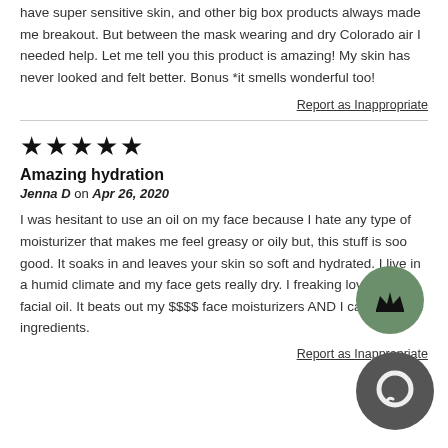have super sensitive skin, and other big box products always made me breakout. But between the mask wearing and dry Colorado air I needed help. Let me tell you this product is amazing! My skin has never looked and felt better. Bonus *it smells wonderful too!
Report as Inappropriate
[Figure (other): Five filled star rating icons]
Amazing hydration
Jenna D on Apr 26, 2020
I was hesitant to use an oil on my face because I hate any type of moisturizer that makes me feel greasy or oily but, this stuff is soo good. It soaks in and leaves your skin so soft and hydrated. I live in a humid climate and my face gets really dry. I freaking love this facial oil. It beats out my $$$$ face moisturizers AND I can all of the ingredients.
Report as Inappropriate